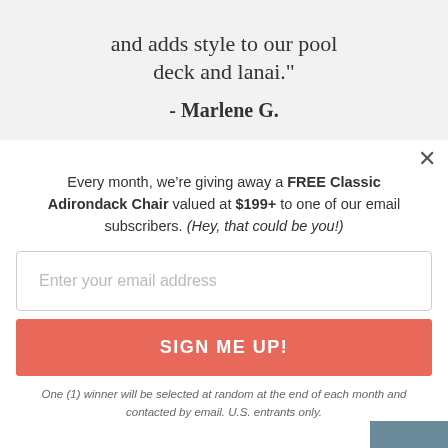and adds style to our pool deck and lanai."
- Marlene G.
Every month, we’re giving away a FREE Classic Adirondack Chair valued at $199+ to one of our email subscribers. (Hey, that could be you!)
Enter your email address
SIGN ME UP!
One (1) winner will be selected at random at the end of each month and contacted by email. U.S. entrants only.